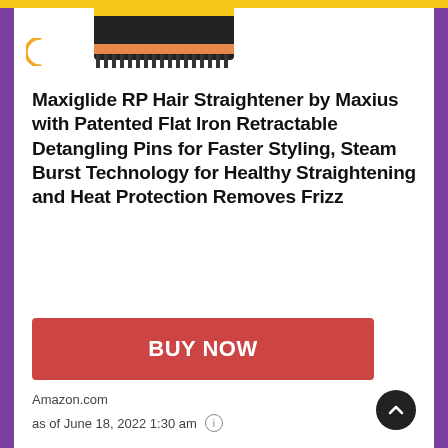[Figure (photo): Partial product image of a hair straightener device visible at top of page]
Maxiglide RP Hair Straightener by Maxius with Patented Flat Iron Retractable Detangling Pins for Faster Styling, Steam Burst Technology for Healthy Straightening and Heat Protection Removes Frizz
BUY NOW
Amazon.com
as of June 18, 2022 1:30 am ℹ